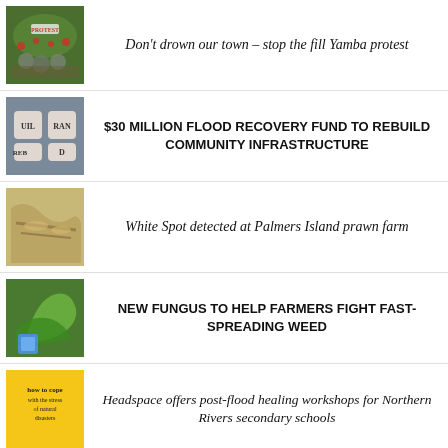Don't drown our town – stop the fill Yamba protest
$30 MILLION FLOOD RECOVERY FUND TO REBUILD COMMUNITY INFRASTRUCTURE
White Spot detected at Palmers Island prawn farm
NEW FUNGUS TO HELP FARMERS FIGHT FAST-SPREADING WEED
Headspace offers post-flood healing workshops for Northern Rivers secondary schools
'No budget available' for repairs
[Figure (bar-chart): Bar chart with red/pink bars showing data trend, small scale chart thumbnail]